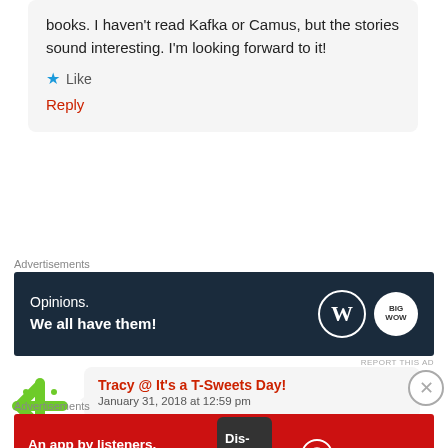books. I haven't read Kafka or Camus, but the stories sound interesting. I'm looking forward to it!
★ Like
Reply
Advertisements
[Figure (screenshot): WordPress advertisement banner: 'Opinions. We all have them!' with WordPress and another logo on dark navy background]
REPORT THIS AD
Tracy @ It's a T-Sweets Day!
January 31, 2018 at 12:59 pm
Advertisements
[Figure (screenshot): Pocket Casts advertisement banner: 'An app by listeners, for listeners.' on red background with phone image]